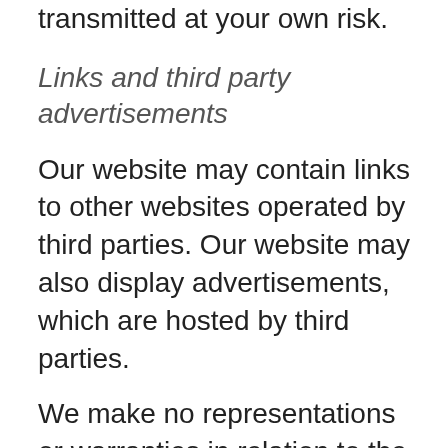information when you transmit to us online is transmitted at your own risk.
Links and third party advertisements
Our website may contain links to other websites operated by third parties. Our website may also display advertisements, which are hosted by third parties.
We make no representations or warranties in relation to the privacy practices of any third party website or advertisement providers and we are not responsible for other privacy policies or the content of any third party website or advertisements. Third party websites are